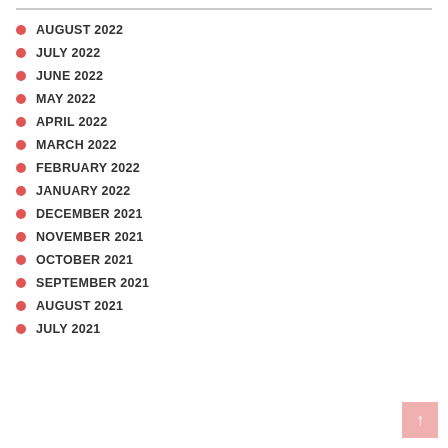AUGUST 2022
JULY 2022
JUNE 2022
MAY 2022
APRIL 2022
MARCH 2022
FEBRUARY 2022
JANUARY 2022
DECEMBER 2021
NOVEMBER 2021
OCTOBER 2021
SEPTEMBER 2021
AUGUST 2021
JULY 2021